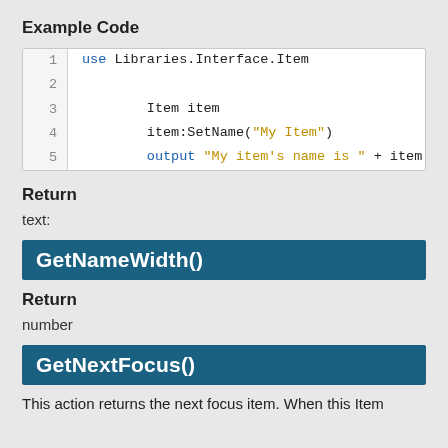Example Code
[Figure (screenshot): Code block showing 5 lines: use Libraries.Interface.Item, blank line, Item item, item:SetName("My Item"), output "My item's name is " + item:GetName()]
Return
text:
GetNameWidth()
Return
number
GetNextFocus()
This action returns the next focus item. When this Item